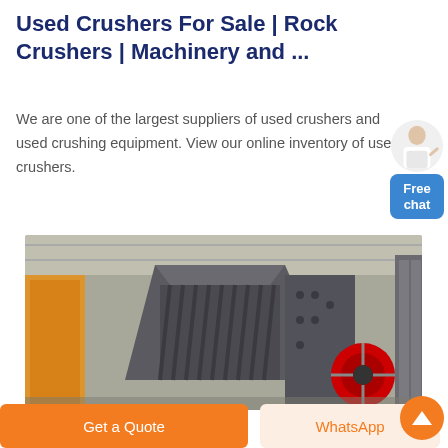Used Crushers For Sale | Rock Crushers | Machinery and ...
We are one of the largest suppliers of used crushers and used crushing equipment. View our online inventory of used crushers.
[Figure (photo): Industrial rock crusher machine in a factory/warehouse setting. Large dark grey crushing equipment with mechanical components visible including a red flywheel.]
Get a Quote
WhatsApp